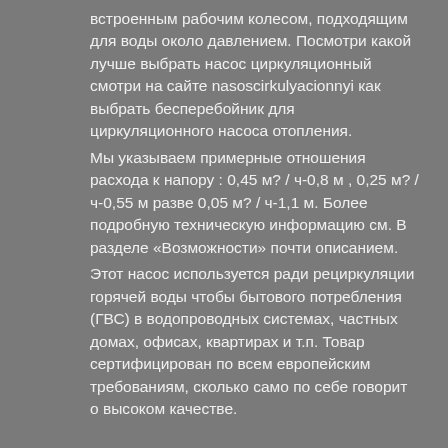встроенным рабочим колесом, подходящим для воды около давлением. Посмотри какой лучше выбрать насос циркуляционный смотри на сайте nasoscirkulyacionnyi как выбрать бесперебойник для циркуляционного насоса отопления.
Мы указываем примерные отношения расхода к напору : 0,45 м? / ч-0,8 м , 0,25 м? / ч-0,55 м разве 0,05 м? / ч-1,1 м. Более подробную техническую информацию см. В разделе «Возможности» почти описанием.
Этот насос используется ради рециркуляции горячей воды чтобы бытового потребления (ГВС) в водопроводных системах, частных домах, офисах, квартирах и т.п. Товар сертифицирован по всем европейским требованиям, сколько само по себе говорит о высоком качестве.